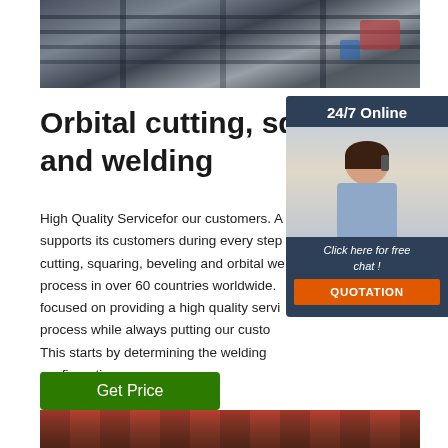[Figure (photo): Industrial metalworking or construction photo showing steel beams/rails from above, with equipment visible]
Orbital cutting, squaring, be and welding
High Quality Servicefor our customers. A supports its customers during every step cutting, squaring, beveling and orbital we process in over 60 countries worldwide. focused on providing a high quality servi process while always putting our custo This starts by determining the welding configuration ...
[Figure (photo): Sidebar with 24/7 Online support agent photo, 'Click here for free chat!' text, and QUOTATION button]
[Figure (photo): Bottom photo showing industrial/welding equipment, red and dark tones]
Get Price